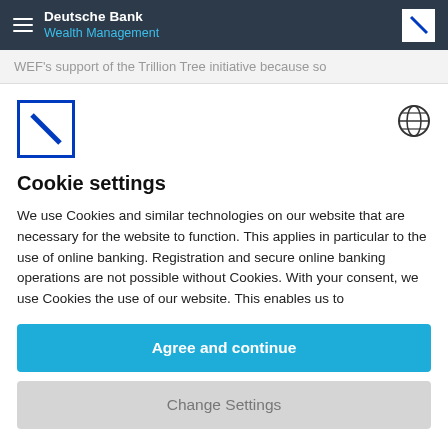Deutsche Bank Wealth Management
WEF's support of the Trillion Tree initiative because so
[Figure (logo): Deutsche Bank logo — blue square with white diagonal slash]
[Figure (other): Globe/language icon]
Cookie settings
We use Cookies and similar technologies on our website that are necessary for the website to function. This applies in particular to the use of online banking. Registration and secure online banking operations are not possible without Cookies. With your consent, we use Cookies the use of our website. This enables us to
Agree and continue
Change Settings